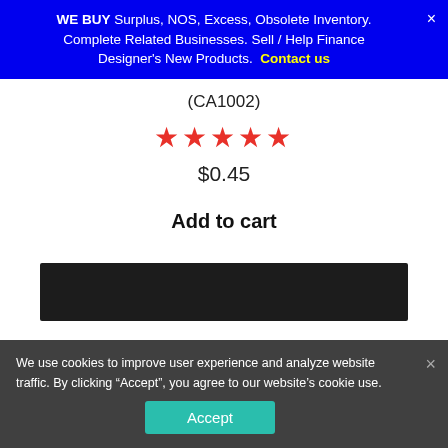WE BUY Surplus, NOS, Excess, Obsolete Inventory. Complete Related Businesses. Sell / Help Finance Designer's New Products. Contact us
(CA1002)
[Figure (other): 5 red star rating icons]
$0.45
Add to cart
[Figure (photo): Dark product image area]
We use cookies to improve user experience and analyze website traffic. By clicking “Accept”, you agree to our website’s cookie use.
Accept